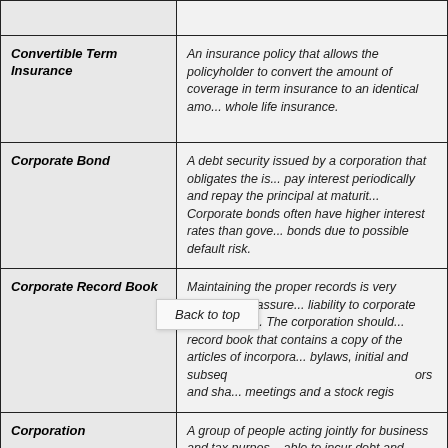| Term | Definition |
| --- | --- |
| Convertible Term Insurance | An insurance policy that allows the policyholder to convert the amount of coverage in term insurance to an identical amount of whole life insurance. |
| Corporate Bond | A debt security issued by a corporation that obligates the issuer to pay interest periodically and repay the principal at maturity. Corporate bonds often have higher interest rates than government bonds due to possible default risk. |
| Corporate Record Book | Maintaining the proper records is very important to assure limited liability to corporate shareholders. The corporation should keep a record book that contains a copy of the articles of incorporation, bylaws, initial and subsequent minutes of meetings of directors and shareholders' meetings and a stock register. |
| Corporation | A group of people acting jointly for business and tax purposes, able to incur debt and realize profit without immediate legal taxable liabilities. A corporate entity allows its owners to attract outside capital by selling shares of ownership, protects the owners... |